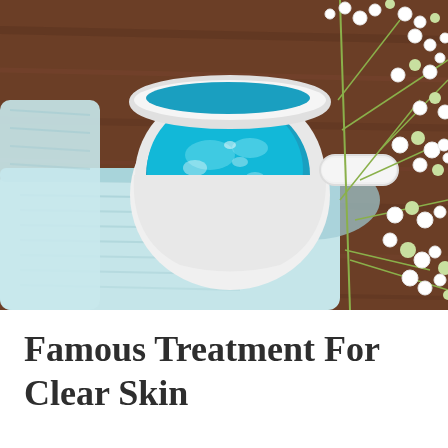[Figure (photo): A white ceramic bowl filled with bright blue gel/skincare product, placed on a folded light blue towel, with white small flowers (gypsophila) arranged alongside, all set on a dark wooden surface.]
Famous Treatment For Clear Skin